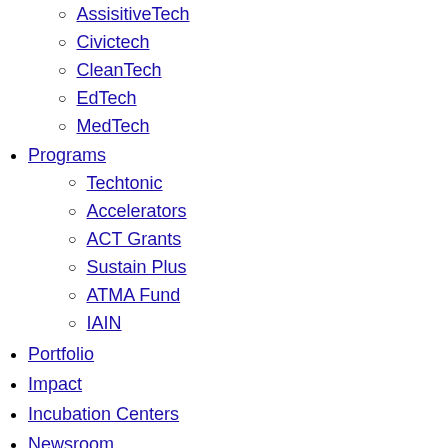AssisitiveTech
Civictech
CleanTech
EdTech
MedTech
Programs
Techtonic
Accelerators
ACT Grants
Sustain Plus
ATMA Fund
IAIN
Portfolio
Impact
Incubation Centers
Newsroom
Announcements
Blog
Press
Podcast
Opinion Articles
Resources
Standard Deal Documents
Open Innovation Platform